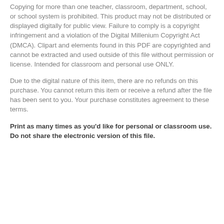Copying for more than one teacher, classroom, department, school, or school system is prohibited. This product may not be distributed or displayed digitally for public view. Failure to comply is a copyright infringement and a violation of the Digital Millenium Copyright Act (DMCA). Clipart and elements found in this PDF are copyrighted and cannot be extracted and used outside of this file without permission or license. Intended for classroom and personal use ONLY.
Due to the digital nature of this item, there are no refunds on this purchase. You cannot return this item or receive a refund after the file has been sent to you. Your purchase constitutes agreement to these terms.
Print as many times as you'd like for personal or classroom use. Do not share the electronic version of this file.